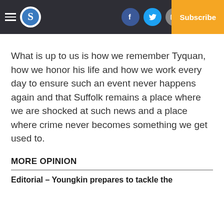S [logo] | Facebook | Twitter | Email | Log In | Subscribe
What is up to us is how we remember Tyquan, how we honor his life and how we work every day to ensure such an event never happens again and that Suffolk remains a place where we are shocked at such news and a place where crime never becomes something we get used to.
MORE OPINION
Editorial – Youngkin prepares to tackle the